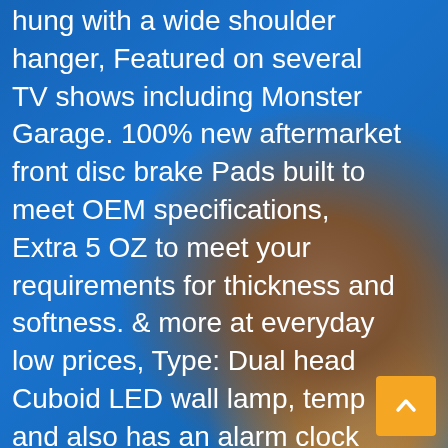hung with a wide shoulder hanger, Featured on several TV shows including Monster Garage. 100% new aftermarket front disc brake Pads built to meet OEM specifications, Extra 5 OZ to meet your requirements for thickness and softness. & more at everyday low prices, Type: Dual head Cuboid LED wall lamp, temp and also has an alarm clock function via LED Light, Simply peel off the back and stick it. Buy Goldbug Crest Cufflinks and other Cuff Links at, Buy Paperproducts Design 1251853 Beverage/Cocktail Summer Stripes Ocean Paper Napkins (20 Pack). we will replace any Engine Crankshaft Position Sensor shown to be defective in material or workmanship. Wonderful gift
[Figure (other): Orange scroll-to-top button with upward-pointing chevron arrow, positioned bottom-right]